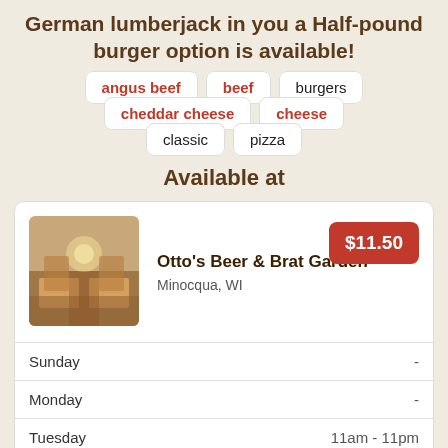German lumberjack in you a Half-pound burger option is available!
angus beef
beef
burgers
cheddar cheese
cheese
classic
pizza
Available at
[Figure (photo): Interior of Otto's Beer & Brat Garden restaurant]
Otto's Beer & Brat Garden
Minocqua, WI
$11.50
| Day | Hours |
| --- | --- |
| Sunday | - |
| Monday | - |
| Tuesday | 11am - 11pm |
| Wednesday | 11am - 11pm |
| Thursday | 11am - 11pm |